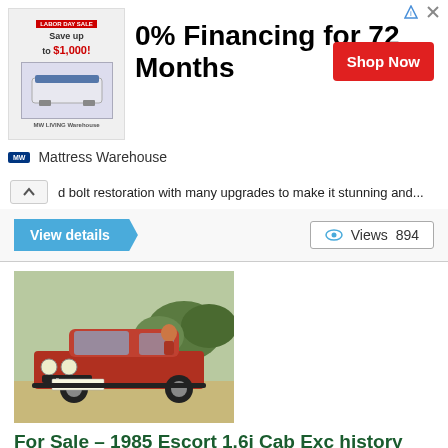[Figure (photo): Advertisement banner for Mattress Warehouse: 0% Financing for 72 Months, Shop Now button, Save up to $1,000 offer image]
d bolt restoration with many upgrades to make it stunning and...
View details
Views  894
[Figure (photo): Photo of a red Ford Escort 1.6i Cabriolet with registration plate A462 RHK, person in background, outdoor setting]
For Sale – 1985 Escort 1.6i Cab Exc history Princess D...
£4,995.00
March 15, 2019
1985 'B' Ford Escort 1.6i Cabriolet (convertible version of the XR3i hot hatch) Sunburst Red/Grey velour with blue stripe. Has the bonus of now having the